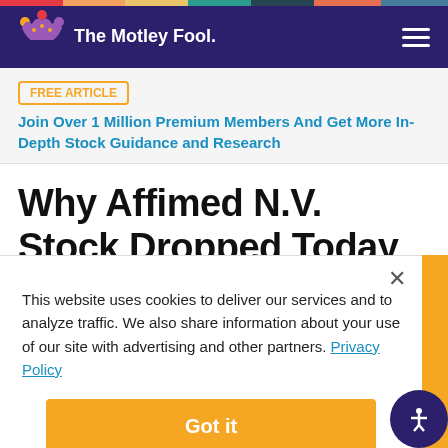The Motley Fool
FREE ARTICLE  Join Over 1 Million Premium Members And Get More In-Depth Stock Guidance and Research
Why Affimed N.V. Stock Dropped Today
This website uses cookies to deliver our services and to analyze traffic. We also share information about your use of our site with advertising and other partners. Privacy Policy
Got it
Cookie Settings